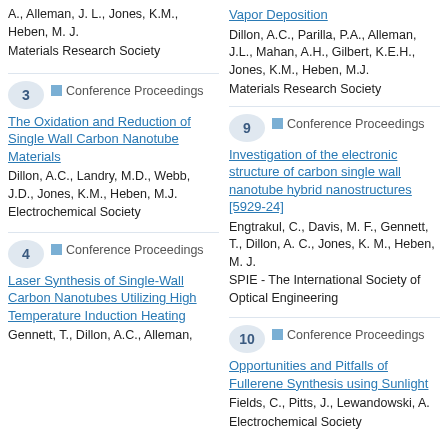A., Alleman, J. L., Jones, K.M., Heben, M. J.
Materials Research Society
Vapor Deposition
Dillon, A.C., Parilla, P.A., Alleman, J.L., Mahan, A.H., Gilbert, K.E.H., Jones, K.M., Heben, M.J.
Materials Research Society
3 | Conference Proceedings
The Oxidation and Reduction of Single Wall Carbon Nanotube Materials
Dillon, A.C., Landry, M.D., Webb, J.D., Jones, K.M., Heben, M.J.
Electrochemical Society
9 | Conference Proceedings
Investigation of the electronic structure of carbon single wall nanotube hybrid nanostructures [5929-24]
Engtrakul, C., Davis, M. F., Gennett, T., Dillon, A. C., Jones, K. M., Heben, M. J.
SPIE - The International Society of Optical Engineering
4 | Conference Proceedings
Laser Synthesis of Single-Wall Carbon Nanotubes Utilizing High Temperature Induction Heating
Gennett, T., Dillon, A.C., Alleman,
10 | Conference Proceedings
Opportunities and Pitfalls of Fullerene Synthesis using Sunlight
Fields, C., Pitts, J., Lewandowski, A.
Electrochemical Society